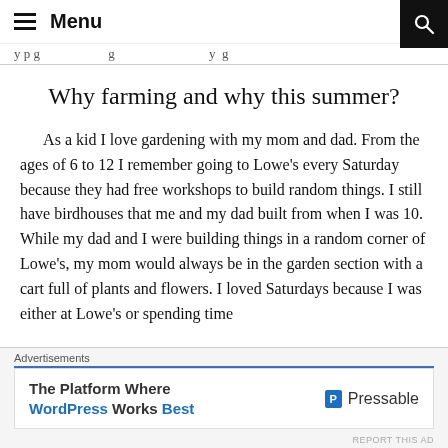Menu
y p g   g   y g
Why farming and why this summer?
As a kid I love gardening with my mom and dad. From the ages of 6 to 12 I remember going to Lowe's every Saturday because they had free workshops to build random things. I still have birdhouses that me and my dad built from when I was 10. While my dad and I were building things in a random corner of Lowe's, my mom would always be in the garden section with a cart full of plants and flowers. I loved Saturdays because I was either at Lowe's or spending time
Advertisements
The Platform Where WordPress Works Best   Pressable